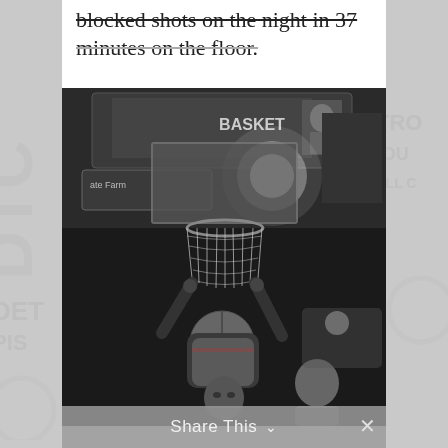blocked shots on the night in 37 minutes on the floor.
[Figure (photo): Black and white photo of a basketball player dunking the ball through the net, taken from below looking up at the basket. The arena scoreboard and State Farm advertisement are visible in the background. Another player is visible in the background.]
Share This ∨  ×